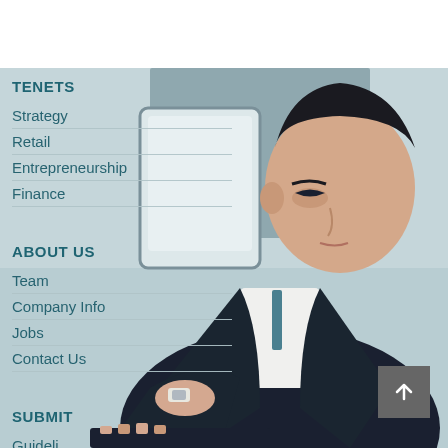[Figure (illustration): Illustrated image of a young man in a suit working on a laptop/tablet device, painted in a stylized art deco or comic style with muted blue-grey tones. The figure is viewed from slightly above and to the front-right.]
TENETS
Strategy
Retail
Entrepreneurship
Finance
ABOUT US
Team
Company Info
Jobs
Contact Us
SUBMIT
Guideli...